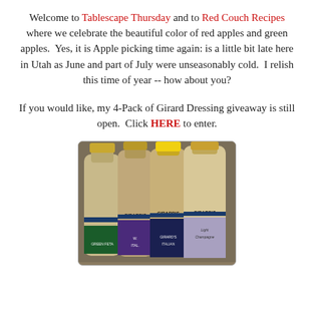Welcome to Tablescape Thursday and to Red Couch Recipes where we celebrate the beautiful color of red apples and green apples.  Yes, it is Apple picking time again: is a little bit late here in Utah as June and part of July were unseasonably cold.  I relish this time of year -- how about you?
If you would like, my 4-Pack of Girard Dressing giveaway is still open.  Click HERE to enter.
[Figure (photo): Four bottles of Girard's salad dressing lined up together: Girard's Green Feta, Girard's White Italian, Girard's (center bottle with yellow cap), and Girard's Light Champagne dressing.]